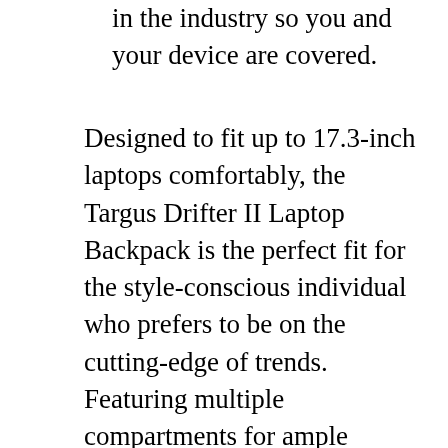in the industry so you and your device are covered.
Designed to fit up to 17.3-inch laptops comfortably, the Targus Drifter II Laptop Backpack is the perfect fit for the style-conscious individual who prefers to be on the cutting-edge of trends. Featuring multiple compartments for ample storage, this rugged backpack gives you room for all the things you need to tote-be it cross-town or cross-country. Breathable mesh panels on the backside of the pack provide a comfortable carrying experience for the long-haul, alleviating the discomfort of strenuous and perspiring jaunts! Plus, a secret zipper compartment on the backside of the backpack